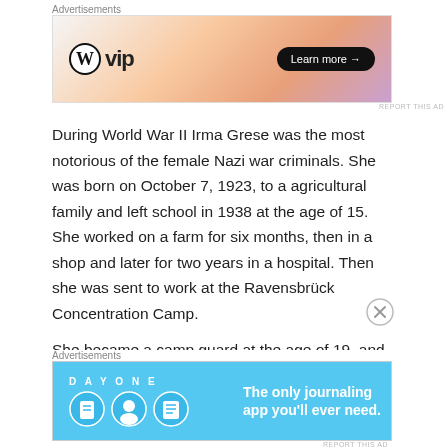[Figure (other): WordPress VIP advertisement banner with orange/pink gradient background and Learn more button]
During World War II Irma Grese was the most notorious of the female Nazi war criminals. She was born on October 7, 1923, to a agricultural family and left school in 1938 at the age of 15. She worked on a farm for six months, then in a shop and later for two years in a hospital. Then she was sent to work at the Ravensbrück Concentration Camp.
She became a camp guard at the age of 19, and in March 1943 she was transferred to Auschwitz. She rose to the rank of Senior SS-Supervisor in the autumn of 1943, in charge of around 30,000 women prisoners, mainly Polish
[Figure (other): Day One journaling app advertisement with blue background and icons]